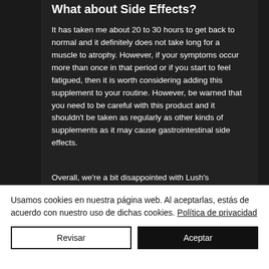What about Side Effects?
It has taken me about 20 to 30 hours to get back to normal and it definitely does not take long for a muscle to atrophy. However, if your symptoms occur more than once in that period or if you start to feel fatigued, then it is worth considering adding this supplement to your routine. However, be warned that you need to be careful with this product and it shouldn't be taken as regularly as other kinds of supplements as it may cause gastrointestinal side effects.
Overall, we're a bit disappointed with Lush's
Usamos cookies en nuestra página web. Al aceptarlas, estás de acuerdo con nuestro uso de dichas cookies. Política de privacidad
Revisar
Aceptar